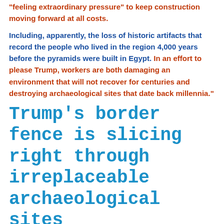“feeling extraordinary pressure” to keep construction moving forward at all costs.
Including, apparently, the loss of historic artifacts that record the people who lived in the region 4,000 years before the pyramids were built in Egypt. In an effort to please Trump, workers are both damaging an environment that will not recover for centuries and destroying archaeological sites that date back millennia.”
Trump’s border fence is slicing right through irreplaceable archaeological sites
Mark Sumner
Daily Kos Staff